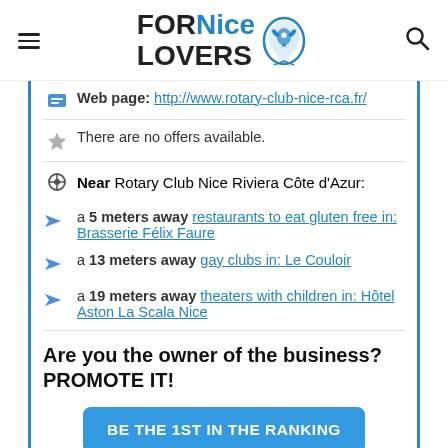FORNice LOVERS
Web page: http://www.rotary-club-nice-rca.fr/
There are no offers available.
Near Rotary Club Nice Riviera Côte d'Azur:
a 5 meters away restaurants to eat gluten free in: Brasserie Félix Faure
a 13 meters away gay clubs in: Le Couloir
a 19 meters away theaters with children in: Hôtel Aston La Scala Nice
Are you the owner of the business? PROMOTE IT!
BE THE 1ST IN THE RANKING